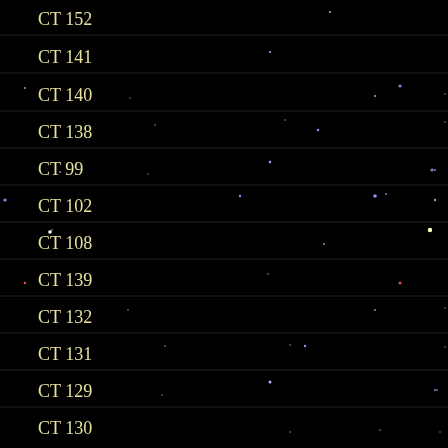CT 152
CT 141
CT 140
CT 138
CT 99
CT 102
CT 108
CT 139
CT 132
CT 131
CT 129
CT 130